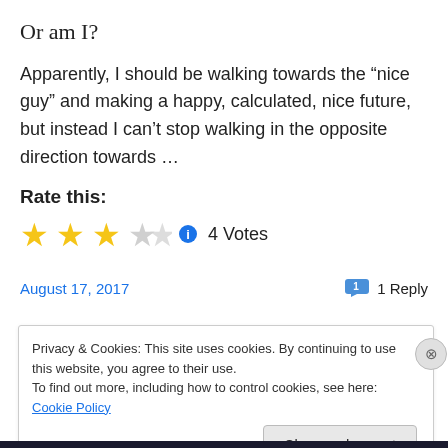Or am I?
Apparently, I should be walking towards the “nice guy” and making a happy, calculated, nice future, but instead I can’t stop walking in the opposite direction towards …
Rate this:
[Figure (other): 3 filled gold stars, 2 empty stars, info icon, 4 Votes]
August 17, 2017    1 Reply
Privacy & Cookies: This site uses cookies. By continuing to use this website, you agree to their use.
To find out more, including how to control cookies, see here: Cookie Policy
Close and accept